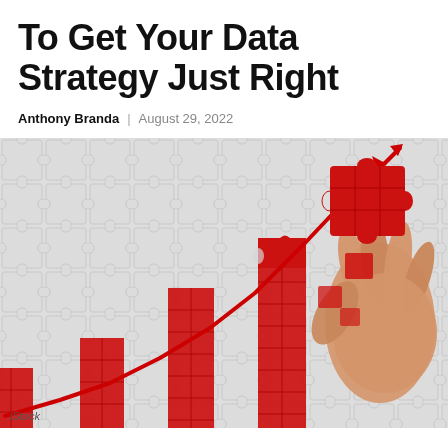To Get Your Data Strategy Just Right
Anthony Branda | August 29, 2022
[Figure (photo): A jigsaw puzzle made of white/grey puzzle pieces showing a bar chart with red bars and a rising red arrow line chart, with a human hand placing a red puzzle piece at the top right. The image is a conceptual illustration of data strategy, combining puzzle and growth chart imagery. An 'iStock' watermark appears at the bottom left.]